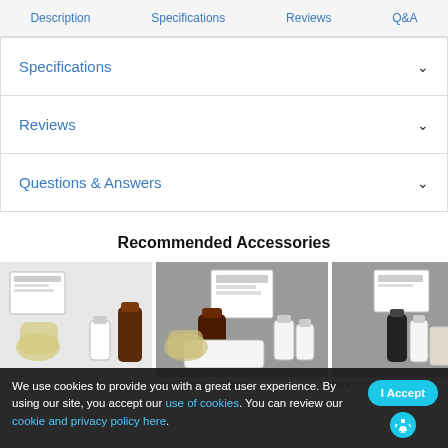Description | Specifications | Reviews | Q&A
Specifications
Reviews
Questions & Answers
Recommended Accessories
[Figure (photo): Product photo 1: lab supplies with bottles and gloves]
[Figure (photo): Product photo 2: electrophoresis kit with bottles, gloves, tray, and booklet]
[Figure (photo): Product photo 3: partial view of lab kit with bottles]
Pack Ethidium Bromide
Pack: C
We use cookies to provide you with a great user experience. By using our site, you accept our use of cookies. You can review our cookie and privacy policy here.